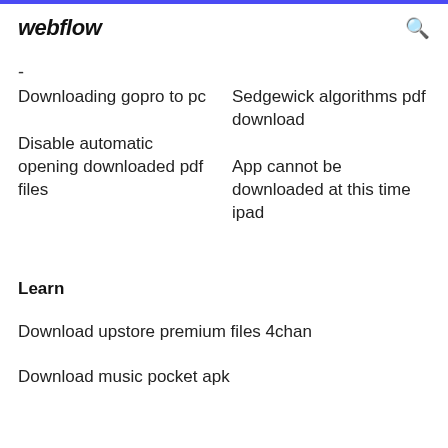webflow
-
Downloading gopro to pc
Sedgewick algorithms pdf download
Disable automatic opening downloaded pdf files
App cannot be downloaded at this time ipad
Learn
Download upstore premium files 4chan
Download music pocket apk